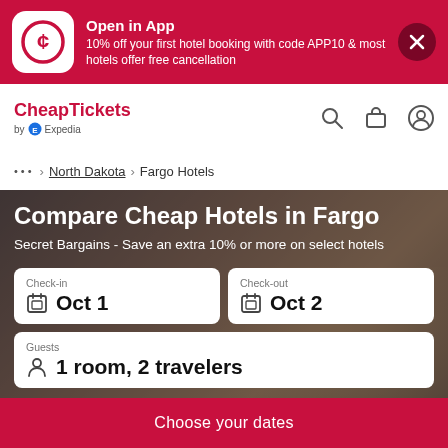[Figure (screenshot): Red promotional banner with CheapTickets logo icon (white rounded square with C symbol), text promoting app discount, and dark red close button]
Open in App
10% off your first hotel booking with code APP10 & most hotels offer free cancellation
[Figure (logo): CheapTickets by Expedia logo in red text]
... > North Dakota > Fargo Hotels
Compare Cheap Hotels in Fargo
Secret Bargains - Save an extra 10% or more on select hotels
Check-in
Oct 1
Check-out
Oct 2
Guests
1 room, 2 travelers
Choose your dates